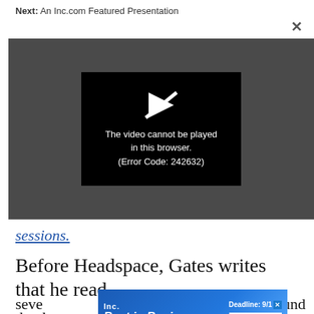Next: An Inc.com Featured Presentation
[Figure (screenshot): Video player showing error message: 'The video cannot be played in this browser. (Error Code: 242632)' on a dark grey background with a black inner box and a play icon with a slash through it.]
sessions.
Before Headspace, Gates writes that he read
seve
[Figure (other): Inc. Best in Business advertisement banner with 'Deadline: 9/1' and 'Apply Now' button]
und
the d